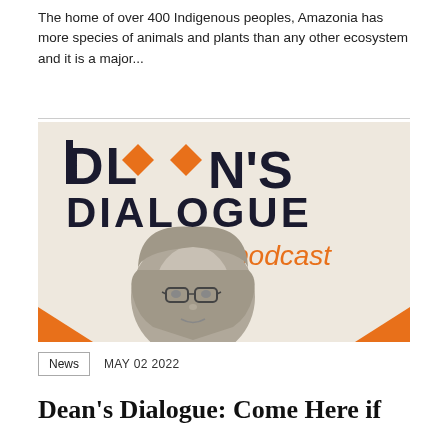The home of over 400 Indigenous peoples, Amazonia has more species of animals and plants than any other ecosystem and it is a major...
[Figure (photo): Dean's Dialogue podcast promotional image featuring a woman wearing a headscarf and glasses, in black and white, with the text 'DEAN'S DIALOGUE podcast' in dark and orange typography on a light background with orange corner accents.]
News   MAY 02 2022
Dean's Dialogue: Come Here if